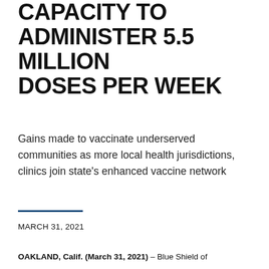CAPACITY TO ADMINISTER 5.5 MILLION DOSES PER WEEK
Gains made to vaccinate underserved communities as more local health jurisdictions, clinics join state's enhanced vaccine network
MARCH 31, 2021
OAKLAND, Calif. (March 31, 2021) – Blue Shield of